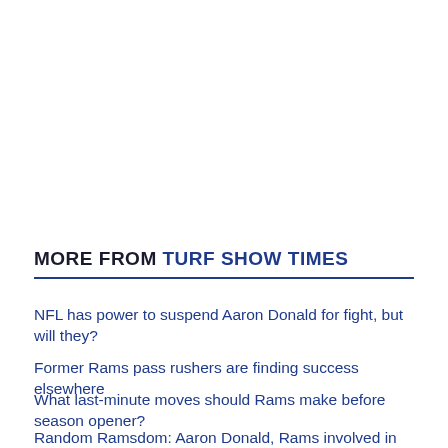MORE FROM TURF SHOW TIMES
NFL has power to suspend Aaron Donald for fight, but will they?
Former Rams pass rushers are finding success elsewhere
What last-minute moves should Rams make before season opener?
Random Ramsdom: Aaron Donald, Rams involved in massive brawl